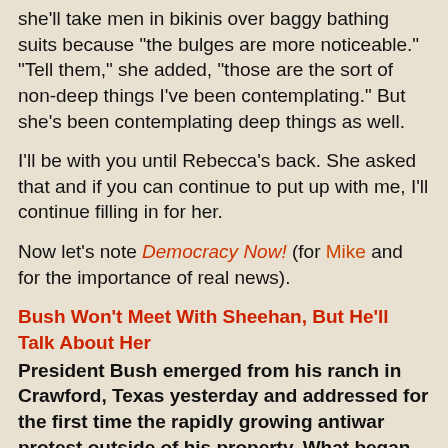she'll take men in bikinis over baggy bathing suits because "the bulges are more noticeable." "Tell them," she added, "those are the sort of non-deep things I've been contemplating." But she's been contemplating deep things as well.
I'll be with you until Rebecca's back. She asked that and if you can continue to put up with me, I'll continue filling in for her.
Now let's note Democracy Now! (for Mike and for the importance of real news).
Bush Won't Meet With Sheehan, But He'll Talk About Her
President Bush emerged from his ranch in Crawford, Texas yesterday and addressed for the first time the rapidly growing antiwar protest outside of his property. What began as a one woman vigil has now grown into the central antiwar action in the US. Before this week, there was very little coverage in the corporate media of antiwar families whose loved ones have been killed in Iraq, but now Cindy Sheehan--whose son Casey was killed in Iraq--has grabbed international headlines.